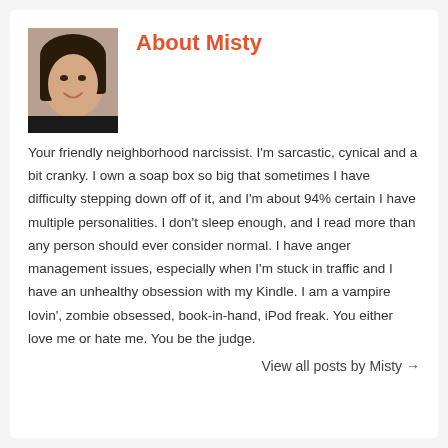[Figure (photo): Profile photo of Misty, a young woman with dark hair and a smile]
About Misty
Your friendly neighborhood narcissist. I'm sarcastic, cynical and a bit cranky. I own a soap box so big that sometimes I have difficulty stepping down off of it, and I'm about 94% certain I have multiple personalities. I don't sleep enough, and I read more than any person should ever consider normal. I have anger management issues, especially when I'm stuck in traffic and I have an unhealthy obsession with my Kindle. I am a vampire lovin', zombie obsessed, book-in-hand, iPod freak. You either love me or hate me. You be the judge.
View all posts by Misty →